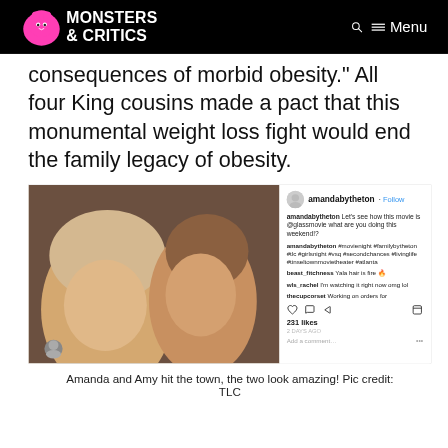Monsters & Critics — Menu
consequences of morbid obesity." All four King cousins made a pact that this monumental weight loss fight would end the family legacy of obesity.
[Figure (photo): Instagram embed showing a photo of two women (Amanda and Amy) taking a selfie. The left woman is older with blonde hair, the right is younger with brown hair. The Instagram sidebar shows username amandabytheton with a Follow link, comments including hashtags #familybytheton #tlc #girlsnight #vsq #secondchances #livinglife #tinseltownmovietheater #atlanta, comments from beast_fitchness saying 'Yala hair is fire' and wls_rachel saying 'I'm watching it right now omg lol', 231 likes.]
Amanda and Amy hit the town, the two look amazing! Pic credit: TLC